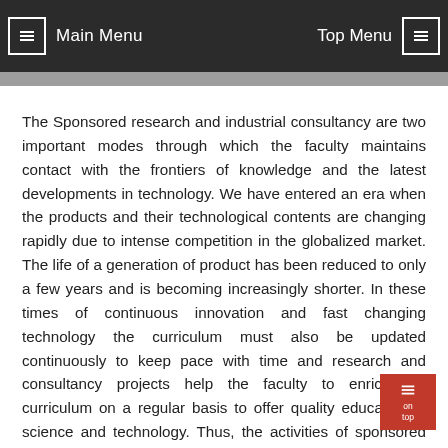Main Menu | Top Menu
The Sponsored research and industrial consultancy are two important modes through which the faculty maintains contact with the frontiers of knowledge and the latest developments in technology. We have entered an era when the products and their technological contents are changing rapidly due to intense competition in the globalized market. The life of a generation of product has been reduced to only a few years and is becoming increasingly shorter. In these times of continuous innovation and fast changing technology the curriculum must also be updated continuously to keep pace with time and research and consultancy projects help the faculty to enrich the curriculum on a regular basis to offer quality education in science and technology. Thus, the activities of sponsored research and industrial consultancy